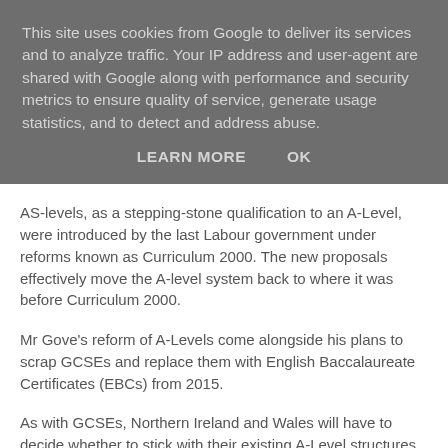This site uses cookies from Google to deliver its services and to analyze traffic. Your IP address and user-agent are shared with Google along with performance and security metrics to ensure quality of service, generate usage statistics, and to detect and address abuse.
LEARN MORE   OK
AS-levels, as a stepping-stone qualification to an A-Level, were introduced by the last Labour government under reforms known as Curriculum 2000. The new proposals effectively move the A-level system back to where it was before Curriculum 2000.
Mr Gove's reform of A-Levels come alongside his plans to scrap GCSEs and replace them with English Baccalaureate Certificates (EBCs) from 2015.
As with GCSEs, Northern Ireland and Wales will have to decide whether to stick with their existing A-Level structures, or to follow the new model to be introduced in England.